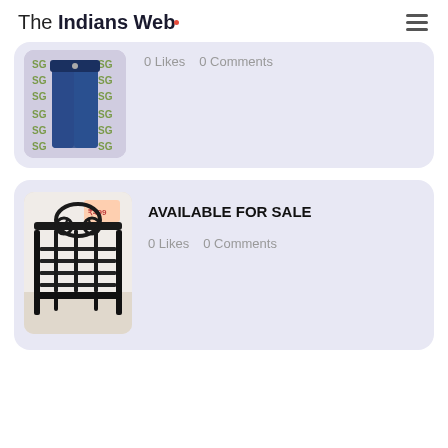The Indians Web
[Figure (photo): Partial product card showing clothing/jeans on mannequin with SG branded backdrop, partially visible at top]
0 Likes   0 Comments
[Figure (photo): Metal bed frame product listing card with decorative headboard]
AVAILABLE FOR SALE
0 Likes   0 Comments